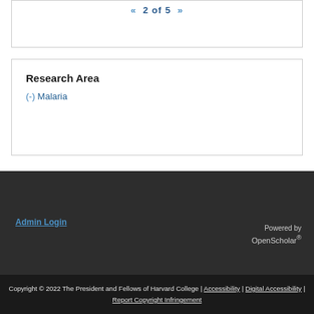« 2 of 5 »
Research Area
(-) Malaria
Admin Login
Powered by OpenScholar®
Copyright © 2022 The President and Fellows of Harvard College | Accessibility | Digital Accessibility | Report Copyright Infringement